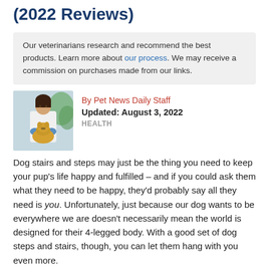(2022 Reviews)
Our veterinarians research and recommend the best products. Learn more about our process. We may receive a commission on purchases made from our links.
[Figure (photo): Photo of a veterinarian examining a dog]
By Pet News Daily Staff
Updated: August 3, 2022
HEALTH
Dog stairs and steps may just be the thing you need to keep your pup’s life happy and fulfilled – and if you could ask them what they need to be happy, they’d probably say all they need is you. Unfortunately, just because our dog wants to be everywhere we are doesn’t necessarily mean the world is designed for their 4-legged body. With a good set of dog steps and stairs, though, you can let them hang with you even more.
Our vet advisor, Dr. Chyrle Bonk, looked at all types of dog